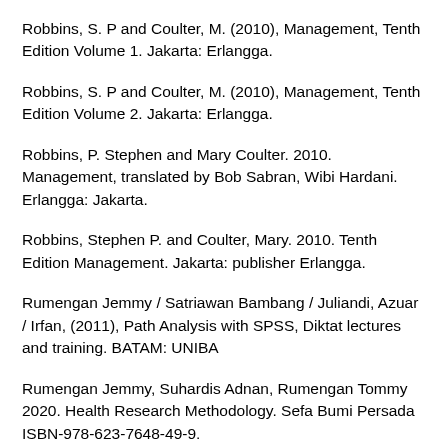Robbins, S. P and Coulter, M. (2010), Management, Tenth Edition Volume 1. Jakarta: Erlangga.
Robbins, S. P and Coulter, M. (2010), Management, Tenth Edition Volume 2. Jakarta: Erlangga.
Robbins, P. Stephen and Mary Coulter. 2010. Management, translated by Bob Sabran, Wibi Hardani. Erlangga: Jakarta.
Robbins, Stephen P. and Coulter, Mary. 2010. Tenth Edition Management. Jakarta: publisher Erlangga.
Rumengan Jemmy / Satriawan Bambang / Juliandi, Azuar / Irfan, (2011), Path Analysis with SPSS, Diktat lectures and training. BATAM: UNIBA
Rumengan Jemmy, Suhardis Adnan, Rumengan Tommy 2020. Health Research Methodology. Sefa Bumi Persada ISBN-978-623-7648-49-9.